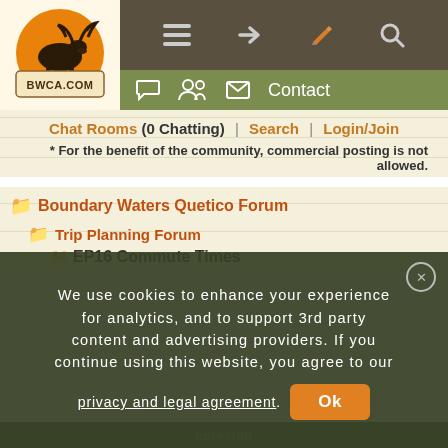BWCA.com navigation header with logo, menu icons, and contact bar
Chat Rooms (0 Chatting) | Search | Login/Join
* For the benefit of the community, commercial posting is not allowed.
Boundary Waters Quetico Forum
Trip Planning Forum
EP16 Commute Times
We use cookies to enhance your experience for analytics, and to support 3rd party content and advertising providers. If you continue using this website, you agree to our privacy and legal agreement. Ok